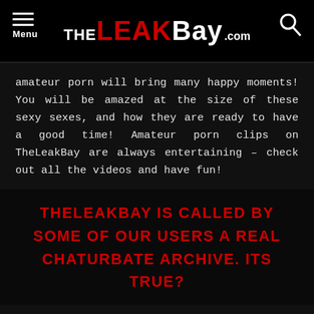THE LEAKBay.com
amateur porn will bring many happy moments! You will be amazed at the size of these sexy sexes, and how they are ready to have a good time! Amateur porn clips on TheLeakBay are always entertaining – check out all the videos and have fun!
THELEAKBAY IS CALLED BY SOME OF OUR USERS A REAL CHATURBATE ARCHIVE. ITS TRUE?
Indeed. You don't need to search other websites to